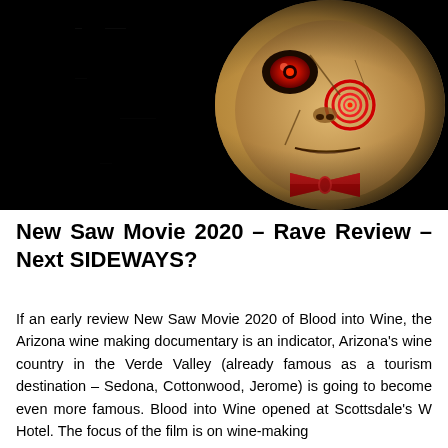[Figure (photo): Dark horror image of a creepy puppet/doll face (Jigsaw from the Saw movie franchise) with glowing red eye, red spiral cheek markings, and red bow tie, set against a black background.]
New Saw Movie 2020 – Rave Review – Next SIDEWAYS?
If an early review New Saw Movie 2020 of Blood into Wine, the Arizona wine making documentary is an indicator, Arizona's wine country in the Verde Valley (already famous as a tourism destination – Sedona, Cottonwood, Jerome) is going to become even more famous. Blood into Wine opened at Scottsdale's W Hotel. The focus of the film is on wine-making